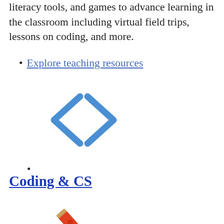literacy tools, and games to advance learning in the classroom including virtual field trips, lessons on coding, and more.
Explore teaching resources
[Figure (illustration): Blue code bracket icon: < >]
Coding & CS
[Figure (illustration): Red/orange pencil and brush creativity icon]
Creativity Tools
[Figure (illustration): Yellow tablet/iPad device icon]